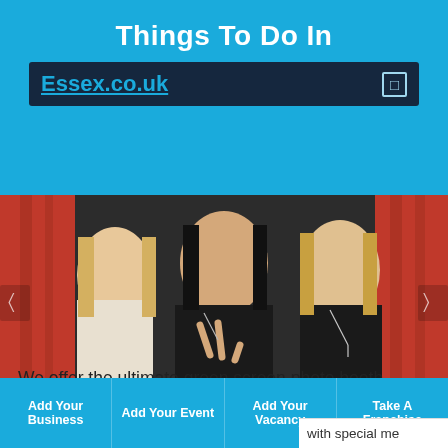Things To Do In
Essex.co.uk
[Figure (photo): Three young women posing in front of a red curtain backdrop in a photo booth. The middle woman wears a black hoodie and makes a peace sign, the others smile.]
We offer the ultimate green screen photo booth experience for all events. Being the centrepiece of your event, our booths and mirrors are the ultimate in
Add Your Business | Add Your Event | Add Your Vacancy | Take A Franchise